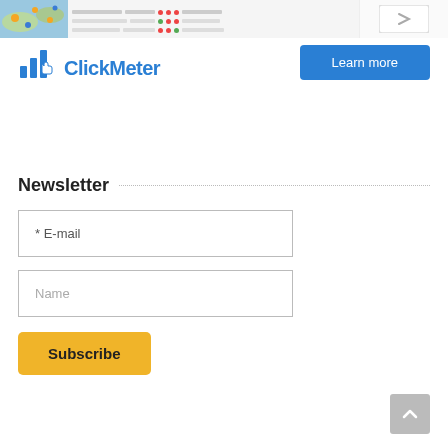[Figure (screenshot): Banner showing a map screenshot on the left and a data table interface in the center-right, with navigation arrows on far right]
[Figure (logo): ClickMeter logo with bar chart icon and cursor]
[Figure (other): Blue 'Learn more' button]
Newsletter
* E-mail
Name
Subscribe
[Figure (other): Gray scroll-to-top button with up arrow]